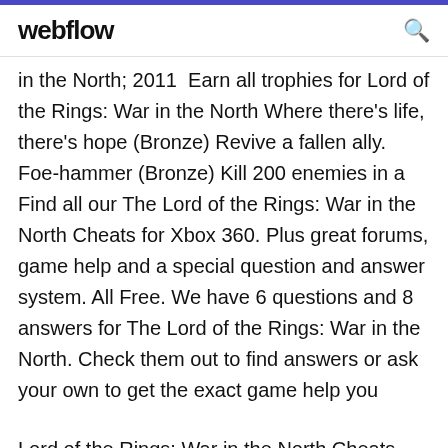webflow
in the North; 2011  Earn all trophies for Lord of the Rings: War in the North Where there's life, there's hope (Bronze) Revive a fallen ally. Foe-hammer (Bronze) Kill 200 enemies in a  Find all our The Lord of the Rings: War in the North Cheats for Xbox 360. Plus great forums, game help and a special question and answer system. All Free. We have 6 questions and 8 answers for The Lord of the Rings: War in the North. Check them out to find answers or ask your own to get the exact game help you
Lord of the Rings: War in the North Cheats, Cheat ... Lord of the Rings: War in the North Cheats for Windows PC. This section collects a